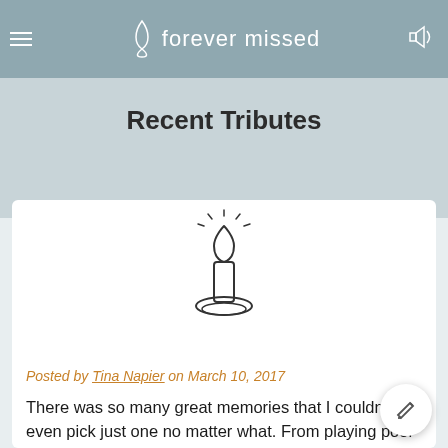forever missed
Recent Tributes
[Figure (illustration): Line drawing of a lit candle on a holder with rays indicating light]
Posted by Tina Napier on March 10, 2017
There was so many great memories that I couldnt even pick just one no matter what. From playing pool at the billiards, singing Kareoke at Acopulcos in Santa Rosa to running around Mcdowell Park. I miss everyday and no matter how many years pass-you are still forever remembered, missed and loved. See